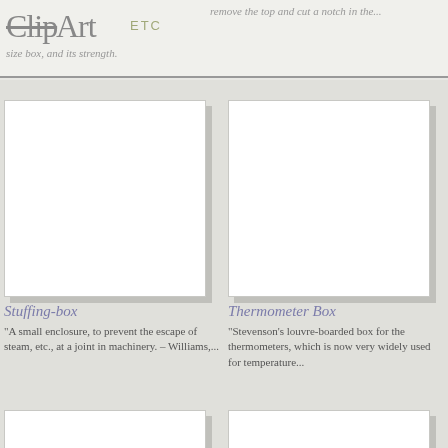ClipArt ETC
remove the top and cut a notch in the...
size box, and its strength.
[Figure (illustration): Blank white image placeholder for Stuffing-box clipart]
Stuffing-box
"A small enclosure, to prevent the escape of steam, etc., at a joint in machinery. – Williams,...
[Figure (illustration): Blank white image placeholder for Thermometer Box clipart]
Thermometer Box
"Stevenson's louvre-boarded box for the thermometers, which is now very widely used for temperature...
[Figure (illustration): Blank white image placeholder bottom-left]
[Figure (illustration): Blank white image placeholder bottom-right]